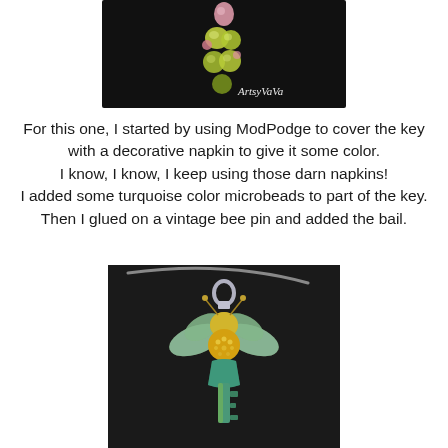[Figure (photo): Photo of decorative beads or jewelry components on a dark background with 'ArtsyVaVa' watermark in cursive white text]
For this one, I started by using ModPodge to cover the key with a decorative napkin to give it some color. I know, I know, I keep using those darn napkins! I added some turquoise color microbeads to part of the key. Then I glued on a vintage bee pin and added the bail.
[Figure (photo): Photo of a vintage bee pin pendant on a key, worn on a cord necklace. The bee has iridescent wings and gold/turquoise body details, photographed on dark background.]